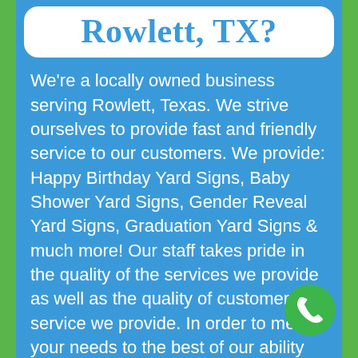Rowlett, TX?
We're a locally owned business serving Rowlett, Texas. We strive ourselves to provide fast and friendly service to our customers. We provide: Happy Birthday Yard Signs, Baby Shower Yard Signs, Gender Reveal Yard Signs, Graduation Yard Signs & much more! Our staff takes pride in the quality of the services we provide as well as the quality of customer service we provide. In order to meet your needs to the best of our ability we offer support 24/7 and flexible scheduling to accommodate your busy schedule. We understand that a beautiful yard sign can complete the